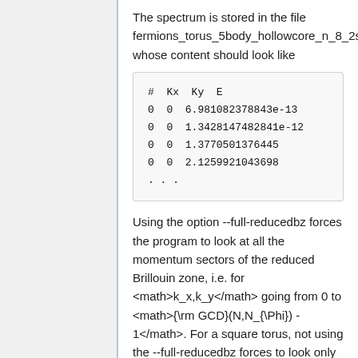The spectrum is stored in the file fermions_torus_5body_hollowcore_n_8_2s_ whose content should look like
# Kx Ky E
0 0 6.981082378843e-13
0 0 1.3428147482841e-12
0 0 1.3770501376445
0 0 2.1259921043698
...
Using the option --full-reducedbz forces the program to look at all the momentum sectors of the reduced Brillouin zone, i.e. for <math>k_x,k_y</math> going from 0 to <math>{\rm GCD}(N,N_{\Phi}) - 1</math>. For a square torus, not using the --full-reducedbz forces to look only at the sectors that are not related by the